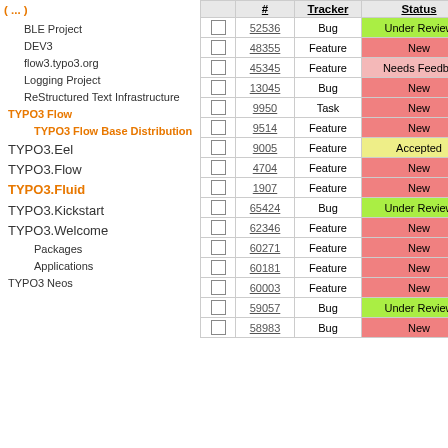BLE Project
DEV3
flow3.typo3.org
Logging Project
ReStructured Text Infrastructure
TYPO3 Flow
TYPO3 Flow Base Distribution
TYPO3.Eel
TYPO3.Flow
TYPO3.Fluid
TYPO3.Kickstart
TYPO3.Welcome
Packages
Applications
TYPO3 Neos
|  | # | Tracker | Status |
| --- | --- | --- | --- |
|  | 52536 | Bug | Under Review |
|  | 48355 | Feature | New |
|  | 45345 | Feature | Needs Feedback |
|  | 13045 | Bug | New |
|  | 9950 | Task | New |
|  | 9514 | Feature | New |
|  | 9005 | Feature | Accepted |
|  | 4704 | Feature | New |
|  | 1907 | Feature | New |
|  | 65424 | Bug | Under Review |
|  | 62346 | Feature | New |
|  | 60271 | Feature | New |
|  | 60181 | Feature | New |
|  | 60003 | Feature | New |
|  | 59057 | Bug | Under Review |
|  | 58983 | Bug | New |